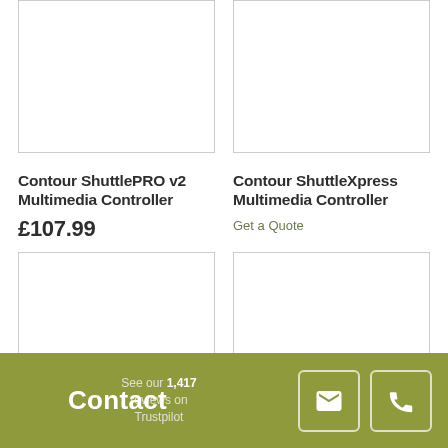[Figure (photo): Product image placeholder for Contour ShuttlePRO v2 Multimedia Controller]
[Figure (photo): Product image placeholder for Contour ShuttleXpress Multimedia Controller]
Contour ShuttlePRO v2 Multimedia Controller
Contour ShuttleXpress Multimedia Controller
£107.99
Get a Quote
[Figure (photo): Product image placeholder bottom left]
[Figure (photo): Product image placeholder bottom right]
See our 1,417 reviews on Trustpilot
Contact